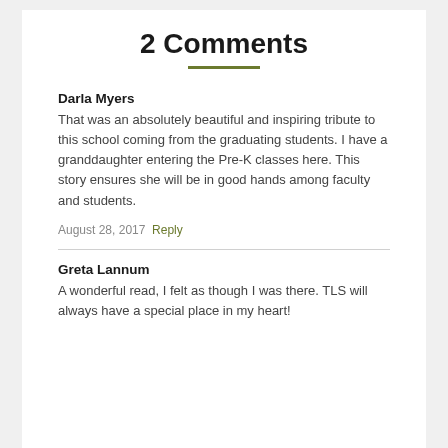2 Comments
Darla Myers
That was an absolutely beautiful and inspiring tribute to this school coming from the graduating students. I have a granddaughter entering the Pre-K classes here. This story ensures she will be in good hands among faculty and students.
August 28, 2017 Reply
Greta Lannum
A wonderful read, I felt as though I was there. TLS will always have a special place in my heart!